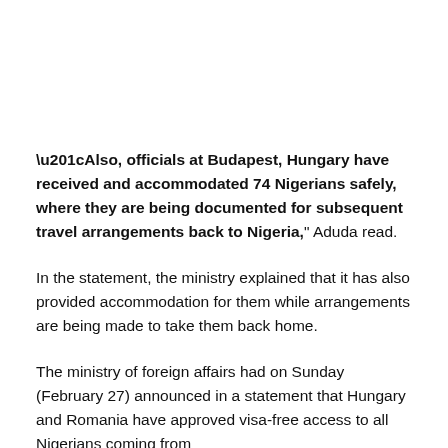“Also, officials at Budapest, Hungary have received and accommodated 74 Nigerians safely, where they are being documented for subsequent travel arrangements back to Nigeria,” Aduda read.
In the statement, the ministry explained that it has also provided accommodation for them while arrangements are being made to take them back home.
The ministry of foreign affairs had on Sunday (February 27) announced in a statement that Hungary and Romania have approved visa-free access to all Nigerians coming from